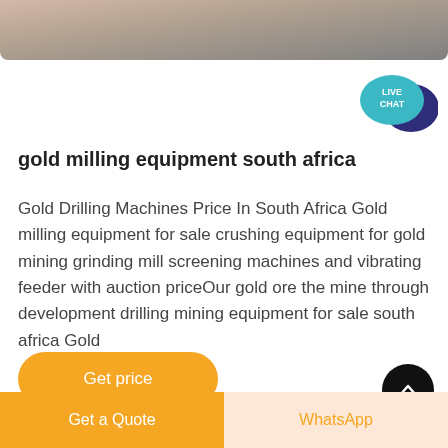[Figure (photo): Partial photo strip at top of page showing sandy/rocky textured surface in muted brown and grey tones]
[Figure (illustration): Live Chat speech bubble icon — teal bubble with white text 'LIVE CHAT' overlapping a dark navy speech bubble, top right area]
gold milling equipment south africa
Gold Drilling Machines Price In South Africa Gold milling equipment for sale crushing equipment for gold mining grinding mill screening machines and vibrating feeder with auction priceOur gold ore the mine through development drilling mining equipment for sale south africa Gold
Get price
Get a Quote
WhatsApp